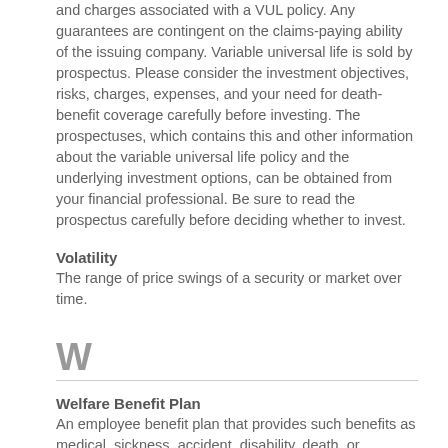and charges associated with a VUL policy. Any guarantees are contingent on the claims-paying ability of the issuing company. Variable universal life is sold by prospectus. Please consider the investment objectives, risks, charges, expenses, and your need for death-benefit coverage carefully before investing. The prospectuses, which contains this and other information about the variable universal life policy and the underlying investment options, can be obtained from your financial professional. Be sure to read the prospectus carefully before deciding whether to invest.
Volatility
The range of price swings of a security or market over time.
W
Welfare Benefit Plan
An employee benefit plan that provides such benefits as medical, sickness, accident, disability, death, or unemployment benefits.
Whole Life Insurance
A type of life insurance that offers a death benefit and also accumulates cash value tax deferred at